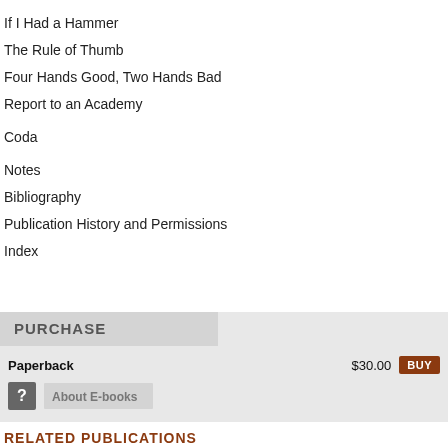If I Had a Hammer
The Rule of Thumb
Four Hands Good, Two Hands Bad
Report to an Academy
Coda
Notes
Bibliography
Publication History and Permissions
Index
PURCHASE
Paperback   $30.00  BUY
? About E-books
RELATED PUBLICATIONS